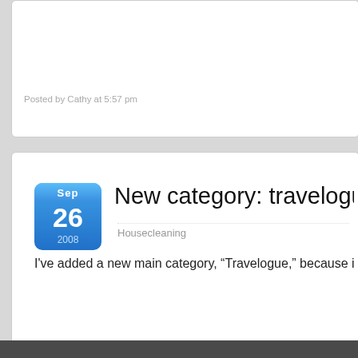Posted by Cathy at 5:57 pm
New category: travelogues
Housecleaning
I've added a new main category, “Travelogue,” because it’s time to fa
Posted by Cathy at 7:25 am
Older Entries
© 2013 Statements of Interest